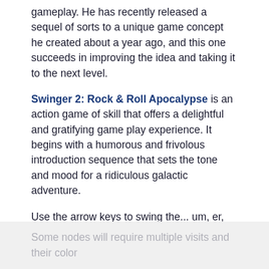gameplay. He has recently released a sequel of sorts to a unique game concept he created about a year ago, and this one succeeds in improving the idea and taking it to the next level.
Swinger 2: Rock & Roll Apocalypse is an action game of skill that offers a delightful and gratifying game play experience. It begins with a humorous and frivolous introduction sequence that sets the tone and mood for a ridiculous galactic adventure.
Use the arrow keys to swing the... um, er, thing around each of the nodes to turn them all grey; the [right] arrow swings clockwise, [left] counter-clockwise. Press [space] to jump. You can also press [ctrl] to skip nodes or pick-ups, and to control movement when jumping in combination with the arrow keys.
Some nodes will require multiple visits and their color